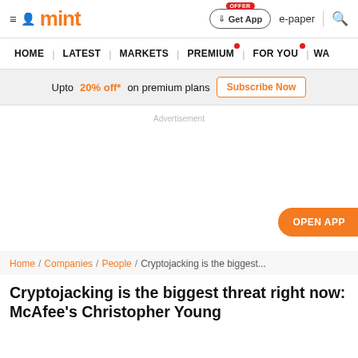mint — Get App | e-paper | search
HOME | LATEST | MARKETS | PREMIUM | FOR YOU | WA
Upto 20% off* on premium plans  Subscribe Now
Advertisement
OPEN APP
Home / Companies / People / Cryptojacking is the biggest...
Cryptojacking is the biggest threat right now: McAfee's Christopher Young